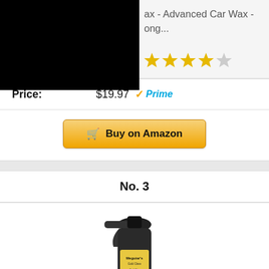[Figure (screenshot): Black rectangle obscuring product image/thumbnail in top-left corner]
ax - Advanced Car Wax - ong...
[Figure (other): Star rating: 4 out of 5 stars (4 gold stars, 1 gray star)]
Price: $19.97 Prime
Buy on Amazon
No. 3
[Figure (photo): Meguiar's spray bottle (black trigger sprayer) - Quick Wax product, with reflection below]
CLOSE